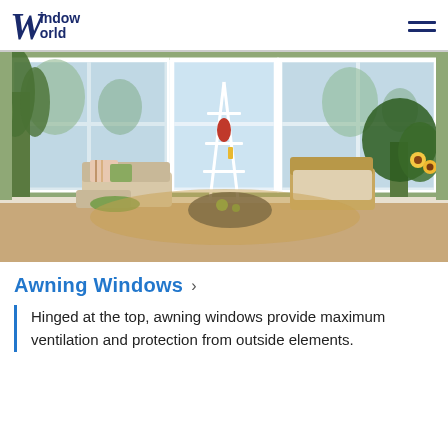Window World
[Figure (photo): Sunroom interior with large white-framed bay and picture windows overlooking a snowy wooded scene. Two wicker chairs and a chaise lounge are arranged around a round coffee table. Tropical houseplants and sunflowers decorate the room with sage green walls.]
Awning Windows
Hinged at the top, awning windows provide maximum ventilation and protection from outside elements.